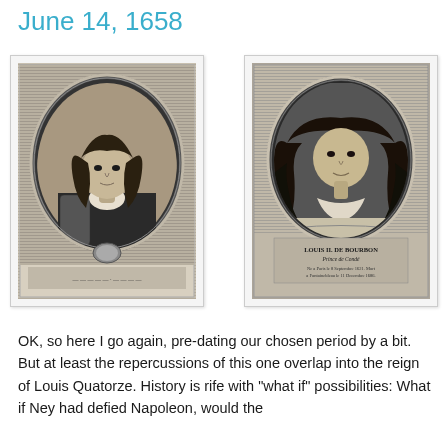June 14, 1658
[Figure (illustration): Historical engraved portrait of a man with long curly hair wearing armor and cravat, shown in an oval frame with decorative border and inscription below]
[Figure (illustration): Historical engraved portrait labeled 'LOUIS II. DE BOURBON Prince de Condé' showing a man with very long curly hair in an oval frame with decorative architectural background and text inscription]
OK, so here I go again, pre-dating our chosen period by a bit. But at least the repercussions of this one overlap into the reign of Louis Quatorze. History is rife with "what if" possibilities: What if Ney had defied Napoleon, would the